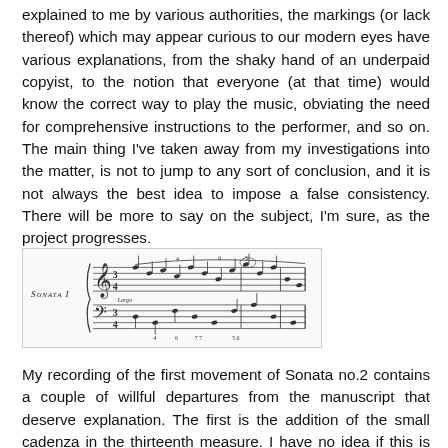explained to me by various authorities, the markings (or lack thereof) which may appear curious to our modern eyes have various explanations, from the shaky hand of an underpaid copyist, to the notion that everyone (at that time) would know the correct way to play the music, obviating the need for comprehensive instructions to the performer, and so on. The main thing I've taken away from my investigations into the matter, is not to jump to any sort of conclusion, and it is not always the best idea to impose a false consistency. There will be more to say on the subject, I'm sure, as the project progresses.
[Figure (illustration): A music score excerpt showing the opening of Sonata I, marked 'Largo', with two staves of handwritten or early printed musical notation.]
My recording of the first movement of Sonata no.2 contains a couple of willful departures from the manuscript that deserve explanation. The first is the addition of the small cadenza in the thirteenth measure. I have no idea if this is the sort of